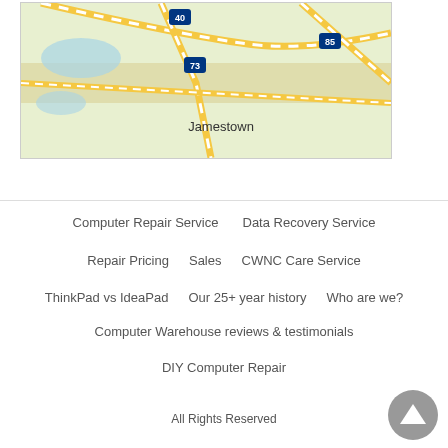[Figure (map): Google Maps view showing Jamestown area with highways 40, 73, 85 marked]
Computer Repair Service
Data Recovery Service
Repair Pricing
Sales
CWNC Care Service
ThinkPad vs IdeaPad
Our 25+ year history
Who are we?
Computer Warehouse reviews & testimonials
DIY Computer Repair
All Rights Reserved